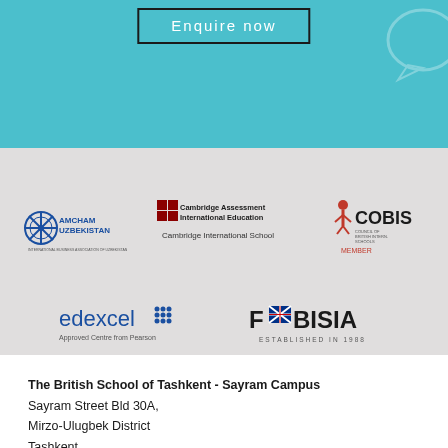[Figure (logo): Enquire Now button on teal/turquoise background banner]
[Figure (logo): AmCham Uzbekistan logo - blue circular snowflake emblem with AMCHAM UZBEKISTAN text]
[Figure (logo): Cambridge Assessment International Education - Cambridge International School logo]
[Figure (logo): COBIS Council of British International Schools logo with red figure]
[Figure (logo): Edexcel Approved Centre from Pearson logo in blue with grid dots]
[Figure (logo): FABISIA Established in 1988 logo with UK flag element]
The British School of Tashkent - Sayram Campus
Sayram Street Bld 30A,
Mirzo-Ulugbek District
Tashkent